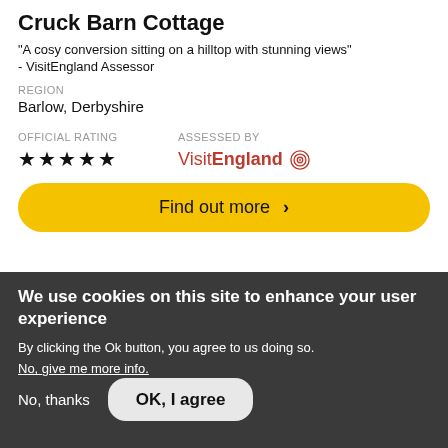Cruck Barn Cottage
"A cosy conversion sitting on a hilltop with stunning views" - VisitEngland Assessor
REGION
Barlow, Derbyshire
OFFICIAL RATING
ASSESSED BY
★★★★★
VisitEngland
Find out more ›
We use cookies on this site to enhance your user experience
By clicking the Ok button, you agree to us doing so.
No, give me more info.
No, thanks
OK, I agree